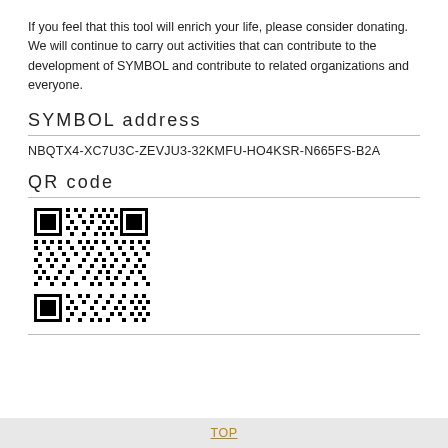If you feel that this tool will enrich your life, please consider donating.
We will continue to carry out activities that can contribute to the development of SYMBOL and contribute to related organizations and everyone.
SYMBOL address
NBQTX4-XC7U3C-ZEVJU3-32KMFU-HO4KSR-N665FS-B2A
QR code
[Figure (other): QR code image for the SYMBOL address NBQTX4-XC7U3C-ZEVJU3-32KMFU-HO4KSR-N665FS-B2A]
TOP